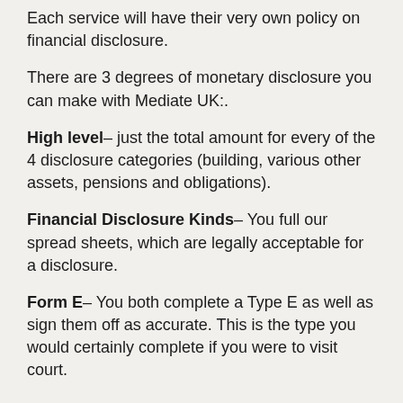Each service will have their very own policy on financial disclosure.
There are 3 degrees of monetary disclosure you can make with Mediate UK:.
High level– just the total amount for every of the 4 disclosure categories (building, various other assets, pensions and obligations).
Financial Disclosure Kinds– You full our spread sheets, which are legally acceptable for a disclosure.
Form E– You both complete a Type E as well as sign them off as accurate. This is the type you would certainly complete if you were to visit court.